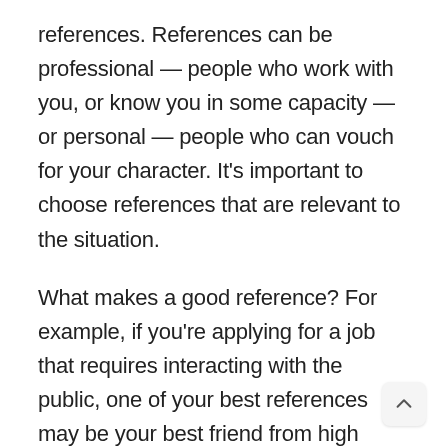references. References can be professional — people who work with you, or know you in some capacity — or personal — people who can vouch for your character. It's important to choose references that are relevant to the situation.
What makes a good reference? For example, if you're applying for a job that requires interacting with the public, one of your best references may be your best friend from high school, who works as a cashier at the local grocery store and knows how you handle yourself in front of strangers.